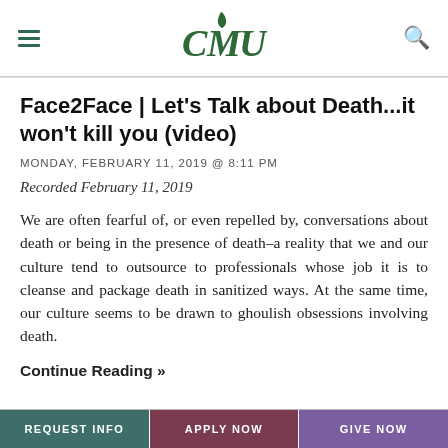CMU
Face2Face | Let’s Talk about Death...it won’t kill you (video)
MONDAY, FEBRUARY 11, 2019 @ 8:11 PM
Recorded February 11, 2019
We are often fearful of, or even repelled by, conversations about death or being in the presence of death–a reality that we and our culture tend to outsource to professionals whose job it is to cleanse and package death in sanitized ways. At the same time, our culture seems to be drawn to ghoulish obsessions involving death.
Continue Reading »
REQUEST INFO   APPLY NOW   GIVE NOW